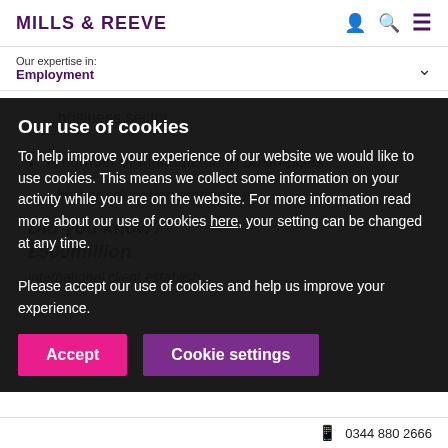MILLS & REEVE
Our expertise in: Employment
business sector
A number of manufacturing businesses
higher education institutions
Did you know?
£500million
international client establish.
Our use of cookies
To help improve your experience of our website we would like to use cookies. This means we collect some information on your activity while you are on the website. For more information read more about our use of cookies here, your setting can be changed at any time.
Please accept our use of cookies and help us improve your experience.
Accept
Cookie settings
0344 880 2666